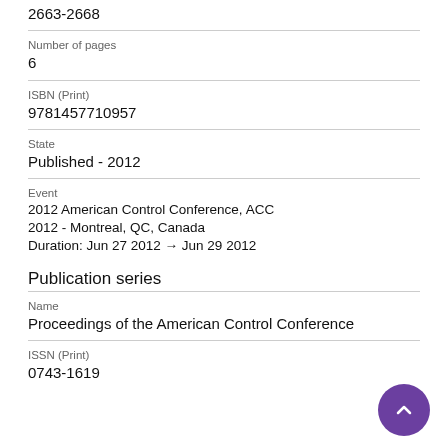2663-2668
Number of pages
6
ISBN (Print)
9781457710957
State
Published - 2012
Event
2012 American Control Conference, ACC 2012 - Montreal, QC, Canada
Duration: Jun 27 2012 → Jun 29 2012
Publication series
Name
Proceedings of the American Control Conference
ISSN (Print)
0743-1619